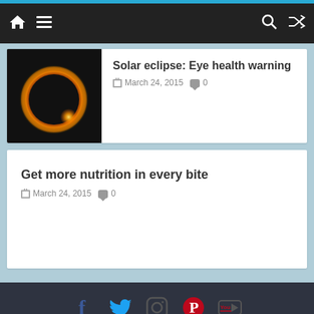Navigation bar with home, menu, search, and shuffle icons
[Figure (photo): Solar eclipse photo showing a ring of orange/gold light around dark moon, black background]
Solar eclipse: Eye health warning
March 24, 2015  0
Get more nutrition in every bite
March 24, 2015  0
Copyright © 2022 JTNONLINE. All rights reserved. Theme: ColorMag by ThemeGrill. Powered by WordPress.